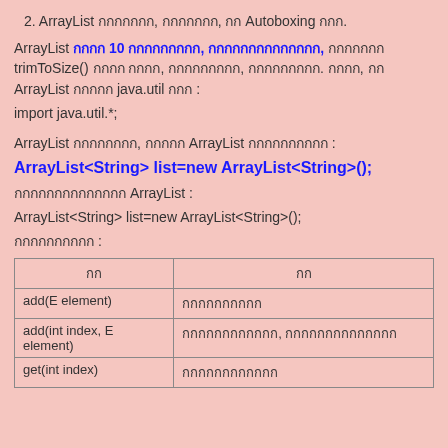2. ArrayList กกกกกกก, กกกกกกก, กก Autoboxing กกก.
ArrayList กกกก 10 กกกกกกกกก, กกกกกกกกกกกกกก, กกกกกกก trimToSize() กกกก กกกก, กกกกกกกกก, กกกกกกกกก. กกกก, กก ArrayList กกกกก java.util กกก :
import java.util.*;
ArrayList กกกกกกกก, กกกกก ArrayList กกกกกกกกกก :
ArrayList<String> list=new ArrayList<String>();
กกกกกกกกกกกกกก ArrayList :
ArrayList<String> list=new ArrayList<String>();
กกกกกกกกกก :
| กก | กก |
| --- | --- |
| add(E element) | กกกกกกกกกก |
| add(int index, E element) | กกกกกกกกกกกก, กกกกกกกกกกกกกก |
| get(int index) | กกกกกกกกกกกก |